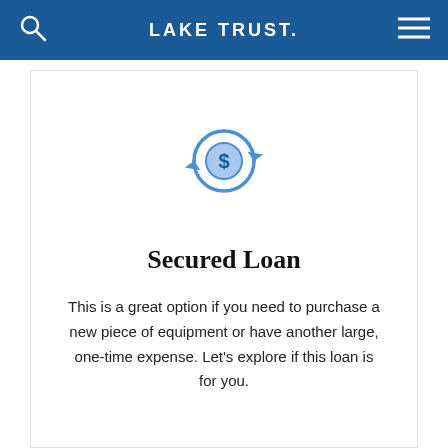LAKE TRUST.
[Figure (illustration): Blue circular arrows icon with a dollar sign coin in the center, representing a secured loan or financial transaction.]
Secured Loan
This is a great option if you need to purchase a new piece of equipment or have another large, one-time expense. Let's explore if this loan is for you.